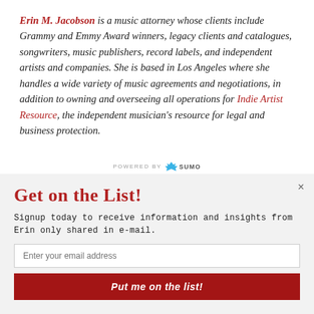Erin M. Jacobson is a music attorney whose clients include Grammy and Emmy Award winners, legacy clients and catalogues, songwriters, music publishers, record labels, and independent artists and companies. She is based in Los Angeles where she handles a wide variety of music agreements and negotiations, in addition to owning and overseeing all operations for Indie Artist Resource, the independent musician's resource for legal and business protection.
Get on the List!
Signup today to receive information and insights from Erin only shared in e-mail.
Enter your email address
Put me on the list!